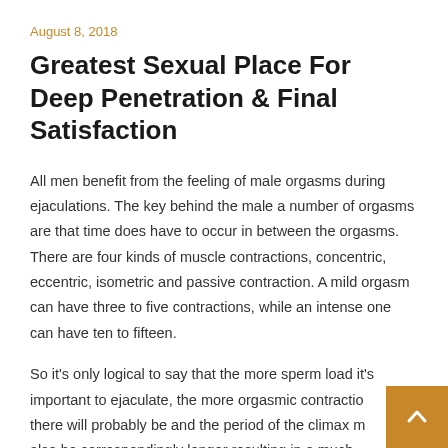August 8, 2018
Greatest Sexual Place For Deep Penetration & Final Satisfaction
All men benefit from the feeling of male orgasms during ejaculations. The key behind the male a number of orgasms are that time does have to occur in between the orgasms. There are four kinds of muscle contractions, concentric, eccentric, isometric and passive contraction. A mild orgasm can have three to five contractions, while an intense one can have ten to fifteen.
So it's only logical to say that the more sperm load it's important to ejaculate, the more orgasmic contractions there will probably be and the period of the climax may also be correspondingly longer resulting in a much